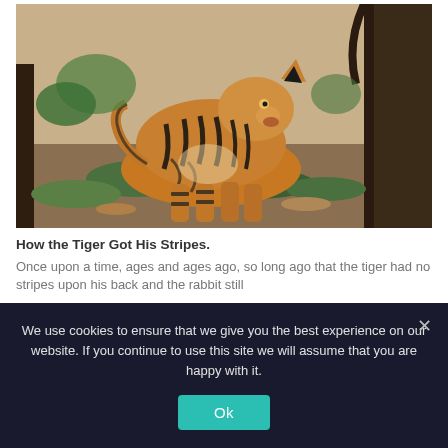[Figure (photo): A Bengal tiger standing in a forest, facing slightly right, showing black and orange stripes. Forest background with trees, fallen leaves, and green foliage.]
How the Tiger Got His Stripes.
Once upon a time, ages and ages ago, so long ago that the tiger had no stripes upon his back and the rabbit still
We use cookies to ensure that we give you the best experience on our website. If you continue to use this site we will assume that you are happy with it.